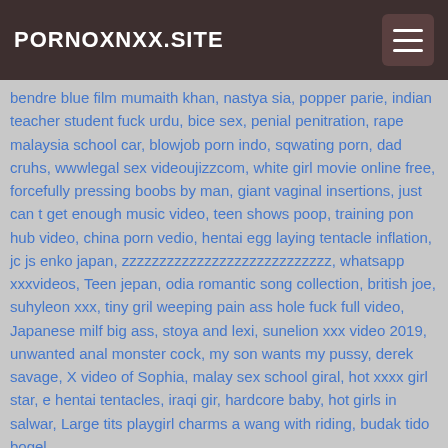PORNOXNXX.SITE
bendre blue film mumaith khan, nastya sia, popper parie, indian teacher student fuck urdu, bice sex, penial penitration, rape malaysia school car, blowjob porn indo, sqwating porn, dad cruhs, wwwlegal sex videoujizzcom, white girl movie online free, forcefully pressing boobs by man, giant vaginal insertions, just can t get enough music video, teen shows poop, training pon hub video, china porn vedio, hentai egg laying tentacle inflation, jc js enko japan, zzzzzzzzzzzzzzzzzzzzzzzzzzzz, whatsapp xxxvideos, Teen jepan, odia romantic song collection, british joe, suhyleon xxx, tiny gril weeping pain ass hole fuck full video, Japanese milf big ass, stoya and lexi, sunelion xxx video 2019, unwanted anal monster cock, my son wants my pussy, derek savage, X video of Sophia, malay sex school giral, hot xxxx girl star, e hentai tentacles, iraqi gir, hardcore baby, hot girls in salwar, Large tits playgirl charms a wang with riding, budak tido bogel